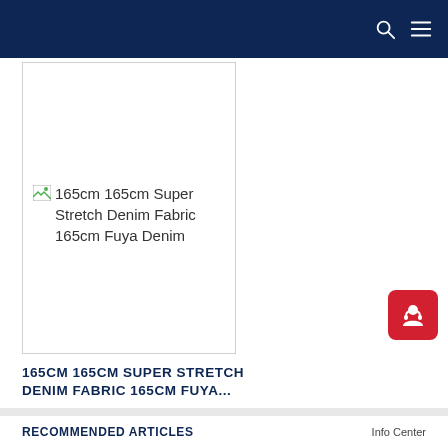[Figure (photo): Product card with broken image placeholder showing text: 165cm 165cm Super Stretch Denim Fabric 165cm Fuya Denim]
165CM 165CM SUPER STRETCH DENIM FABRIC 165CM FUYA...
[Figure (illustration): Red rounded square button with white headset/support person icon]
RECOMMENDED ARTICLES
Info Center